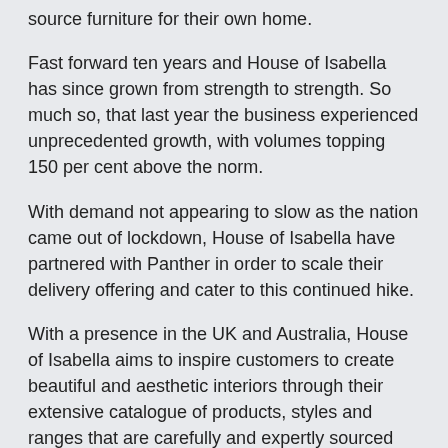source furniture for their own home.
Fast forward ten years and House of Isabella has since grown from strength to strength. So much so, that last year the business experienced unprecedented growth, with volumes topping 150 per cent above the norm.
With demand not appearing to slow as the nation came out of lockdown, House of Isabella have partnered with Panther in order to scale their delivery offering and cater to this continued hike.
With a presence in the UK and Australia, House of Isabella aims to inspire customers to create beautiful and aesthetic interiors through their extensive catalogue of products, styles and ranges that are carefully and expertly sourced from around the world – with the ultimate aim of providing a professional and memorable shopping experience for their